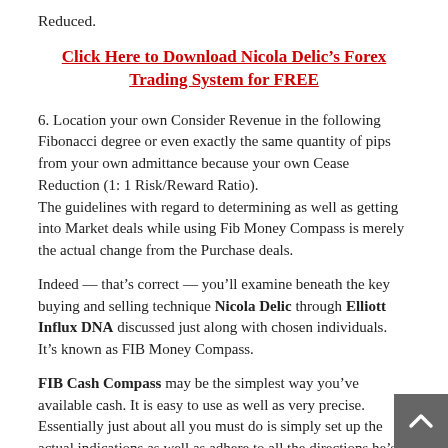Reduced.
Click Here to Download Nicola Delic's Forex Trading System for FREE
6. Location your own Consider Revenue in the following Fibonacci degree or even exactly the same quantity of pips from your own admittance because your own Cease Reduction (1: 1 Risk/Reward Ratio).
The guidelines with regard to determining as well as getting into Market deals while using Fib Money Compass is merely the actual change from the Purchase deals.
Indeed — that's correct — you'll examine beneath the key buying and selling technique Nicola Delic through Elliott Influx DNA discussed just along with chosen individuals. It's known as FIB Money Compass.
FIB Cash Compass may be the simplest way you've available cash. It is easy to use as well as very precise. Essentially just about all you must do is simply set up the actual indications as well as adhere to all the directions he's within the statement. You are able to just about all obtain this particular within the hyperlink beneath. There's also a